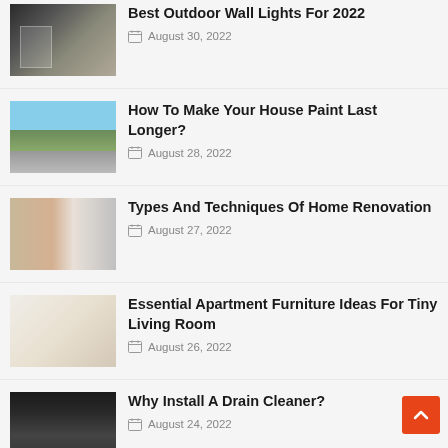[Figure (photo): Outdoor wall lights on a house exterior at dusk]
Best Outdoor Wall Lights For 2022
August 30, 2022
[Figure (photo): Person standing in front of a house being painted]
How To Make Your House Paint Last Longer?
August 28, 2022
[Figure (photo): Home renovation interior with exposed brick and ladder]
Types And Techniques Of Home Renovation
August 27, 2022
[Figure (photo): Small apartment living room with furniture and decor]
Essential Apartment Furniture Ideas For Tiny Living Room
August 26, 2022
[Figure (photo): Hand holding a drain cleaner device]
Why Install A Drain Cleaner?
August 24, 2022